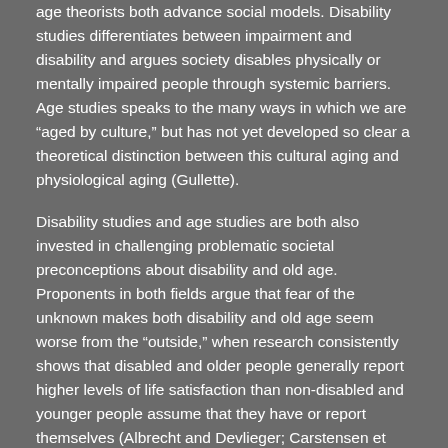age theorists both advance social models. Disability studies differentiates between impairment and disability and argues society disables physically or mentally impaired people through systemic barriers. Age studies speaks to the many ways in which we are “aged by culture,” but has not yet developed so clear a theoretical distinction between this cultural aging and physiological aging (Gullette).
Disability studies and age studies are both also invested in challenging problematic societal preconceptions about disability and old age. Proponents in both fields argue that fear of the unknown makes both disability and old age seem worse from the “outside,” when research consistently shows that disabled and older people generally report higher levels of life satisfaction than non-disabled and younger people assume that they have or report themselves (Albrecht and Devlieger; Carstensen et al.).